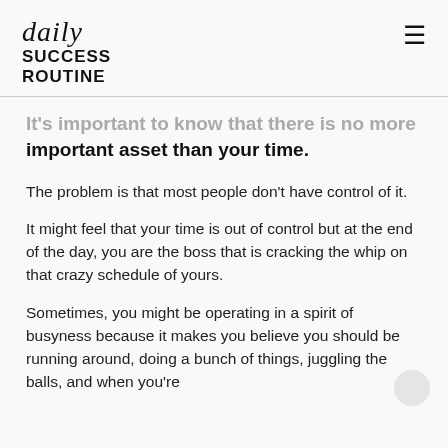daily SUCCESS ROUTINE
It's important to know that there is no more important asset than your time.
The problem is that most people don't have control of it.
It might feel that your time is out of control but at the end of the day, you are the boss that is cracking the whip on that crazy schedule of yours.
Sometimes, you might be operating in a spirit of busyness because it makes you believe you should be running around, doing a bunch of things, juggling the balls, and when you're